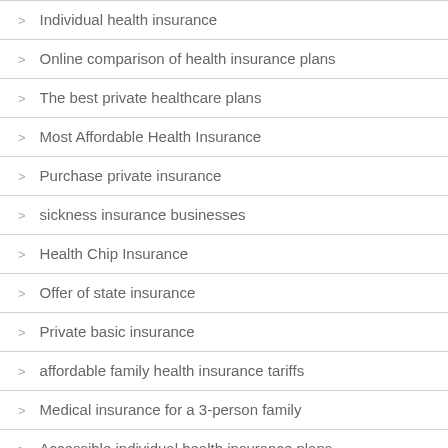Individual health insurance
Online comparison of health insurance plans
The best private healthcare plans
Most Affordable Health Insurance
Purchase private insurance
sickness insurance businesses
Health Chip Insurance
Offer of state insurance
Private basic insurance
affordable family health insurance tariffs
Medical insurance for a 3-person family
Accessible individual health insurance plans
Private health insurance
Medical Student Insurance Quotes
Health insurance Horizon
Health Plan Options